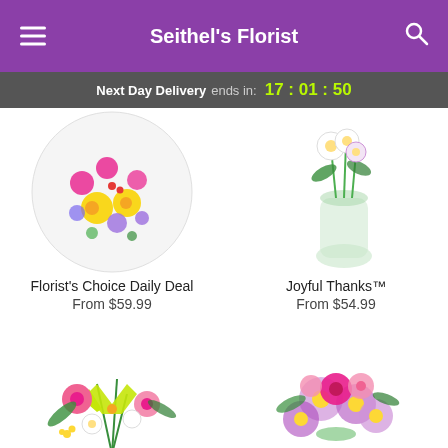Seithel's Florist
Next Day Delivery ends in: 17 : 01 : 50
[Figure (photo): Florist's Choice Daily Deal flower arrangement - colorful bouquet with yellow, pink, and purple flowers in a round display]
Florist's Choice Daily Deal
From $59.99
[Figure (photo): Joyful Thanks flower arrangement in a clear vase with white and green flowers]
Joyful Thanks™
From $54.99
[Figure (photo): Mixed flower bouquet with pink roses, yellow lilies, and white flowers in a vase]
[Figure (photo): Purple and pink flower arrangement with roses, daisies in a bouquet]